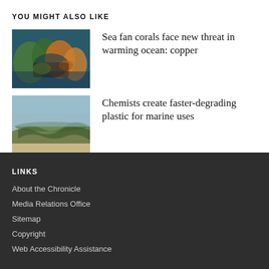YOU MIGHT ALSO LIKE
[Figure (photo): Underwater photo of sea fan corals with orange and dark coloring]
Sea fan corals face new threat in warming ocean: copper
[Figure (photo): Photo of seaweed or algae washed up on a beach shoreline]
Chemists create faster-degrading plastic for marine uses
LINKS
About the Chronicle
Media Relations Office
Sitemap
Copyright
Web Accessibility Assistance